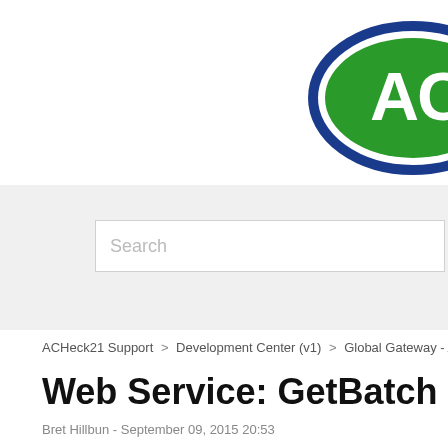[Figure (logo): ACHeck21 company logo - oval shape with blue border and green fill, white 'AC' text, partially cropped at right edge]
Search
ACHeck21 Support > Development Center (v1) > Global Gateway - API Refer...
Web Service: GetBatch
Bret Hillbun - September 09, 2015 20:53